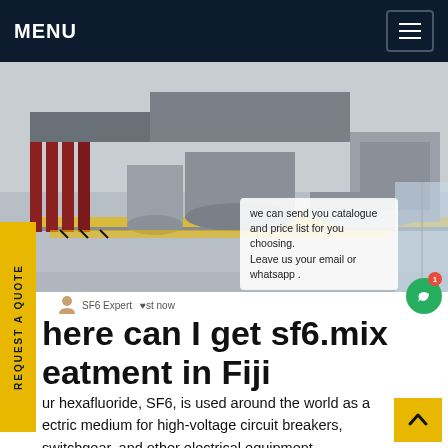MENU
[Figure (photo): Industrial electrical equipment facility showing high-voltage circuit breakers and switchgear on a factory floor with yellow safety markings]
we can send you catalogue and price list for you choosing. Leave us your email or whatsapp .
Where can I get sf6 mix treatment in Fiji
Sulphur hexafluoride, SF6, is used around the world as a dielectric medium for high-voltage circuit breakers, switchgear, and other electrical equipment. Additionally, it is used for the filling of insulated windows and for the casting of magnesium. SF6 is